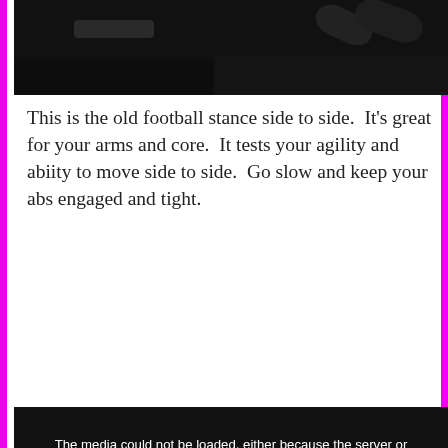[Figure (photo): Dark gym/fitness room photo, partial view showing dumbbells or equipment on a dark background]
This is the old football stance side to side.  It’s great for your arms and core.  It tests your agility and abiity to move side to side.  Go slow and keep your abs engaged and tight.
[Figure (photo): Video player showing error message: 'The media could not be loaded, either because the server or network failed or because the format is not supported.' Background shows a dark gym interior with ceiling lights.]